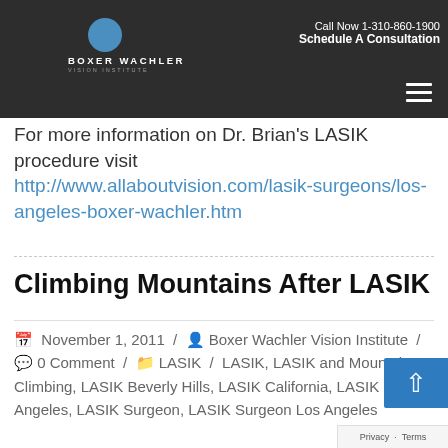Call Now 1-310-860-1900 | Schedule A Consultation | Boxer Wachler Vision Institute
For more information on Dr. Brian's LASIK procedure visit http://www.allaboutvision.com/lasik-surgeons/los-angeles-boxer-wachler.htm
Climbing Mountains After LASIK
November 1, 2011 / Boxer Wachler Vision Institute / 0 Comment / LASIK / LASIK, LASIK and Mountain Climbing, LASIK Beverly Hills, LASIK California, LASIK Los Angeles, LASIK Surgeon, LASIK Surgeon Los Angeles